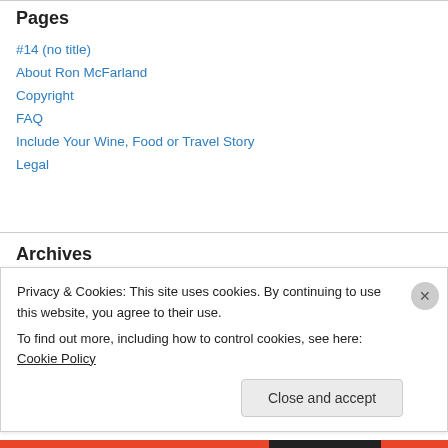Pages
#14 (no title)
About Ron McFarland
Copyright
FAQ
Include Your Wine, Food or Travel Story
Legal
Archives
June 2010
Privacy & Cookies: This site uses cookies. By continuing to use this website, you agree to their use.
To find out more, including how to control cookies, see here: Cookie Policy
Close and accept